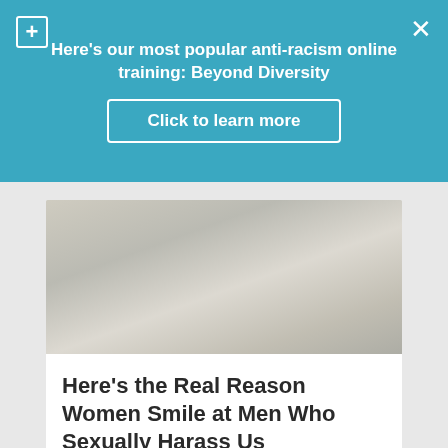Here's our most popular anti-racism online training: Beyond Diversity
Click to learn more
[Figure (photo): Blurred photo of a person, likely a woman, in a crowded setting — used as article thumbnail]
Here’s the Real Reason Women Smile at Men Who Sexually Harass Us